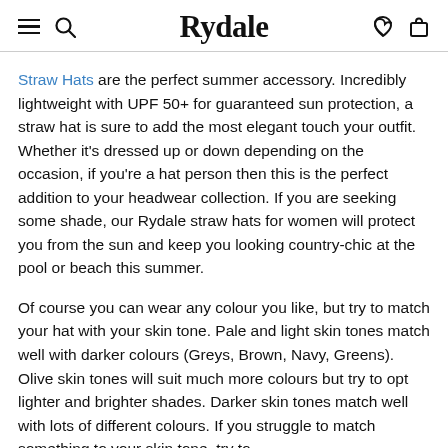Rydale (logo with hamburger, search, heart, bag icons)
Straw Hats are the perfect summer accessory. Incredibly lightweight with UPF 50+ for guaranteed sun protection, a straw hat is sure to add the most elegant touch your outfit. Whether it's dressed up or down depending on the occasion, if you're a hat person then this is the perfect addition to your headwear collection. If you are seeking some shade, our Rydale straw hats for women will protect you from the sun and keep you looking country-chic at the pool or beach this summer.
Of course you can wear any colour you like, but try to match your hat with your skin tone. Pale and light skin tones match well with darker colours (Greys, Brown, Navy, Greens). Olive skin tones will suit much more colours but try to opt lighter and brighter shades. Darker skin tones match well with lots of different colours. If you struggle to match something to your skin tone, try to